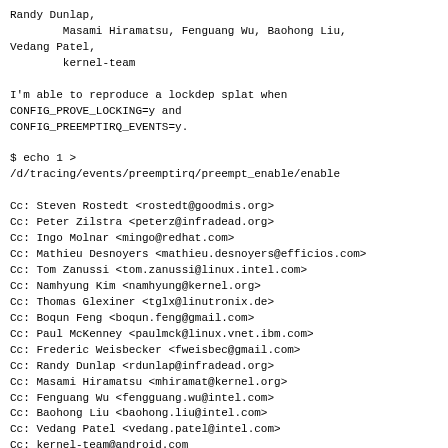Randy Dunlap,
        Masami Hiramatsu, Fenguang Wu, Baohong Liu,
Vedang Patel,
        kernel-team

I'm able to reproduce a lockdep splat when
CONFIG_PROVE_LOCKING=y and
CONFIG_PREEMPTIRQ_EVENTS=y.

$ echo 1 >
/d/tracing/events/preemptirq/preempt_enable/enable

Cc: Steven Rostedt <rostedt@goodmis.org>
Cc: Peter Zilstra <peterz@infradead.org>
Cc: Ingo Molnar <mingo@redhat.com>
Cc: Mathieu Desnoyers <mathieu.desnoyers@efficios.com>
Cc: Tom Zanussi <tom.zanussi@linux.intel.com>
Cc: Namhyung Kim <namhyung@kernel.org>
Cc: Thomas Glexiner <tglx@linutronix.de>
Cc: Boqun Feng <boqun.feng@gmail.com>
Cc: Paul McKenney <paulmck@linux.vnet.ibm.com>
Cc: Frederic Weisbecker <fweisbec@gmail.com>
Cc: Randy Dunlap <rdunlap@infradead.org>
Cc: Masami Hiramatsu <mhiramat@kernel.org>
Cc: Fenguang Wu <fengguang.wu@intel.com>
Cc: Baohong Liu <baohong.liu@intel.com>
Cc: Vedang Patel <vedang.patel@intel.com>
Cc: kernel-team@android.com
Signed-off-by: Joel Fernandes <joelaf@google.com>
---